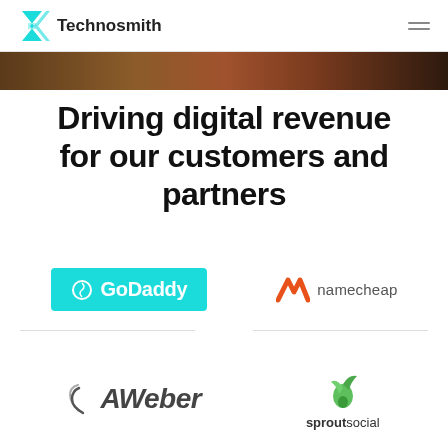Technosmith
[Figure (photo): Narrow hero banner with a dark brown/amber tone background, appears to show hands or natural textures]
Driving digital revenue for our customers and partners
[Figure (logo): GoDaddy logo — teal/cyan background rectangle with white GoDaddy text and icon]
[Figure (logo): Namecheap logo — orange N-shaped chevron icon with 'namecheap' text in gray]
[Figure (logo): AWeber logo — italic bold text with concentric arc symbol]
[Figure (logo): Sprout Social logo — green leaf/sprout icon above 'sproutsocial' text]